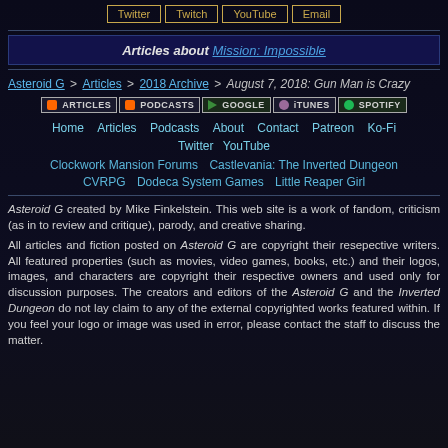Twitter | Twitch | YouTube | Email
Articles about Mission: Impossible
Asteroid G > Articles > 2018 Archive > August 7, 2018: Gun Man is Crazy
[Figure (other): Navigation icon bar with ARTICLES, PODCASTS, GOOGLE, iTunes, SPOTIFY buttons]
Home   Articles   Podcasts   About   Contact   Patreon   Ko-Fi   Twitter   YouTube
Clockwork Mansion Forums    Castlevania: The Inverted Dungeon    CVRPG    Dodeca System Games    Little Reaper Girl
Asteroid G created by Mike Finkelstein. This web site is a work of fandom, criticism (as in to review and critique), parody, and creative sharing.
All articles and fiction posted on Asteroid G are copyright their resepective writers. All featured properties (such as movies, video games, books, etc.) and their logos, images, and characters are copyright their respective owners and used only for discussion purposes. The creators and editors of the Asteroid G and the Inverted Dungeon do not lay claim to any of the external copyrighted works featured within. If you feel your logo or image was used in error, please contact the staff to discuss the matter.